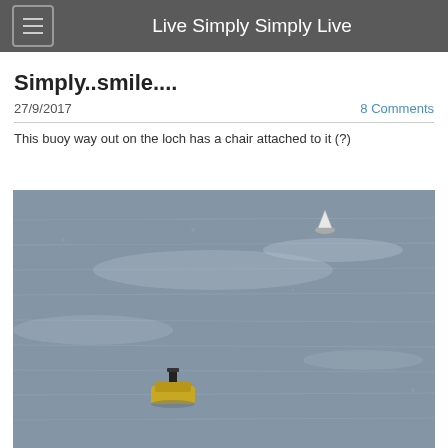Live Simply Simply Live
Simply..smile....
27/9/2017
8 Comments
This buoy way out on the loch has a chair attached to it (?)
[Figure (photo): A photograph of a loch with a buoy in the foreground that has a chair attached to it, and a sailboat visible in the background on the water.]